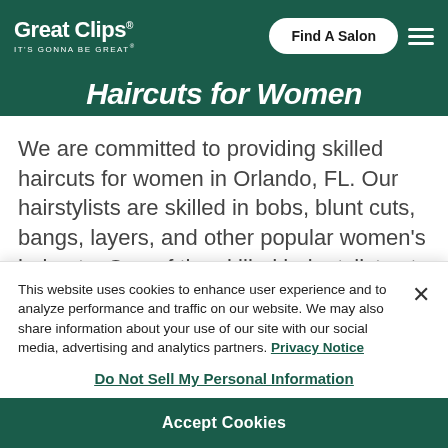[Figure (logo): Great Clips logo with tagline IT'S GONNA BE GREAT in white on dark teal header, with Find A Salon button and hamburger menu]
Haircuts for Women
We are committed to providing skilled haircuts for women in Orlando, FL. Our hairstylists are skilled in bobs, blunt cuts, bangs, layers, and other popular women's haircuts. One of the skilled hair stylists at
This website uses cookies to enhance user experience and to analyze performance and traffic on our website. We may also share information about your use of our site with our social media, advertising and analytics partners. Privacy Notice
Do Not Sell My Personal Information
Accept Cookies